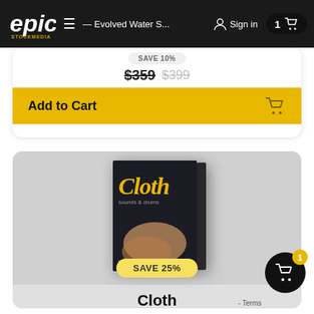Epic Stock Media – Evolved Water S... | Sign in | 1 cart item
SAVE 10%
$359 $399
Add to Cart
[Figure (photo): Product box art for 'Cloth' sound library by The Sound Catcher — dark cover with stylized 'Cloth' text in gold/yellow italic font, a hand visible in the background, small subtitle text]
SAVE 25%
Cloth
$52.5 $70